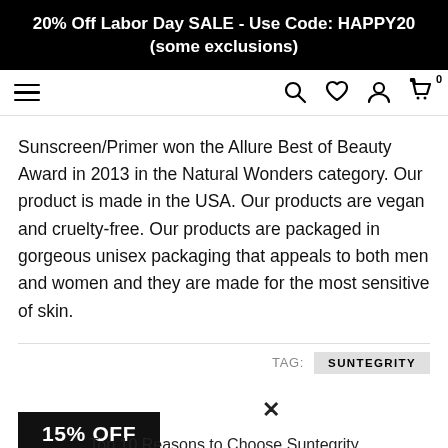20% Off Labor Day SALE - Use Code: HAPPY20 (some exclusions)
[Figure (screenshot): Navigation bar with hamburger menu on left and icons (search, heart/wishlist, account, cart with 0) on right]
Sunscreen/Primer won the Allure Best of Beauty Award in 2013 in the Natural Wonders category. Our product is made in the USA. Our products are vegan and cruelty-free. Our products are packaged in gorgeous unisex packaging that appeals to both men and women and they are made for the most sensitive of skin.
TAG: SUNTEGRITY
× 15% OFF
Top 10 Reasons to Choose Suntegrity